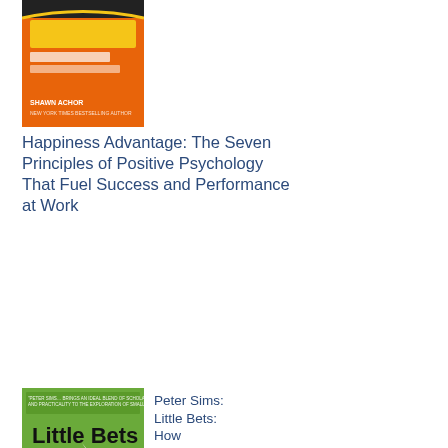[Figure (photo): Book cover: The Happiness Advantage by Shawn Achor, orange cover]
Happiness Advantage: The Seven Principles of Positive Psychology That Fuel Success and Performance at Work
[Figure (photo): Book cover: Little Bets by Peter Sims, green cover with paper crane]
Peter Sims: Little Bets: How
Breakthrough Ideas Emerge from Small Discoveries
[Figure (photo): Book cover: Guy Kawasaki book, red cover]
Guy